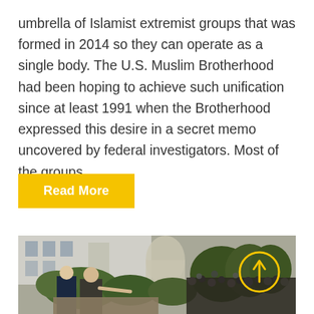umbrella of Islamist extremist groups that was formed in 2014 so they can operate as a single body. The U.S. Muslim Brotherhood had been hoping to achieve such unification since at least 1991 when the Brotherhood expressed this desire in a secret memo uncovered by federal investigators. Most of the groups…
Read More
[Figure (photo): Outdoor photo showing two men (one appears to be Donald Trump) at a podium or table in what looks like the White House Rose Garden, with a crowd of photographers and press in the background. A yellow circle with an upward arrow annotation is overlaid on the right side of the image.]